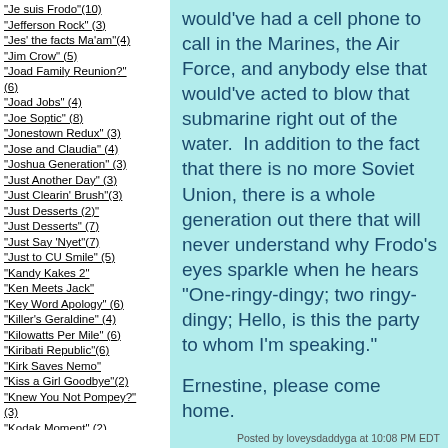"Je suis Frodo"(10)
"Jefferson Rock" (3)
"Jes' the facts Ma'am"(4)
"Jim Crow" (5)
"Joad Family Reunion?" (6)
"Joad Jobs" (4)
"Joe Soptic" (8)
"Jonestown Redux" (3)
"Jose and Claudia" (4)
"Joshua Generation" (3)
"Just Another Day" (3)
"Just Clearin' Brush"(3)
"Just Desserts (2)"
"Just Desserts" (7)
"Just Say 'Nyet"(7)
"Just to CU Smile" (5)
"Kandy Kakes 2"
"Ken Meets Jack"
"Key Word Apology" (6)
"Killer's Geraldine" (4)
"Kilowatts Per Mile" (6)
"Kiribati Republic"(6)
"Kirk Saves Nemo"
"Kiss a Girl Goodbye"(2)
"Knew You Not Pompey?" (3)
"Kodak Moment" (2)
would've had a cell phone to call in the Marines, the Air Force, and anybody else that would've acted to blow that submarine right out of the water.  In addition to the fact that there is no more Soviet Union, there is a whole generation out there that will never understand why Frodo's eyes sparkle when he hears "One-ringy-dingy; two ringy-dingy; Hello, is this the party to whom I'm speaking."
Ernestine, please come home.
Posted by loveysdaddyga at 10:08 PM EDT